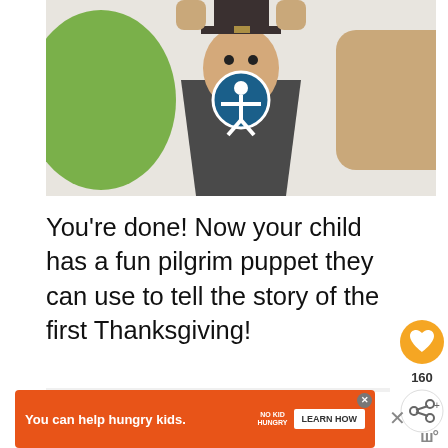[Figure (photo): A child holding a handmade pilgrim puppet made from a paper bag or cardboard, with a dark body, white collar, tan head, and dark hat. Green clothing visible on the left. An accessibility icon overlay appears on the puppet.]
You're done! Now your child has a fun pilgrim puppet they can use to tell the story of the first Thanksgiving!
[Figure (screenshot): Social media interaction area with an orange heart/like button showing 160 likes and a share button.]
You can help hungry kids. NO KID HUNGRY LEARN HOW